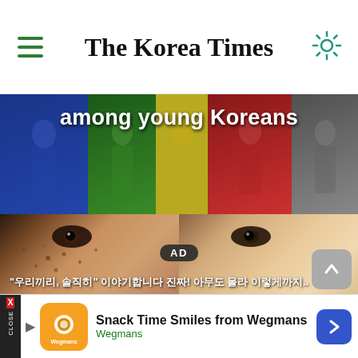The Korea Times
[Figure (illustration): Illustrated banner showing colorful figures of young Koreans with text 'among young Koreans' in white]
[Figure (photo): Split close-up photo of a face showing skin with freckles on left side and clearer skin on right side, with AD overlay and Korean text subtitle]
[Figure (screenshot): Advertisement banner for Snack Time Smiles from Wegmans with orange logo and blue arrow button]